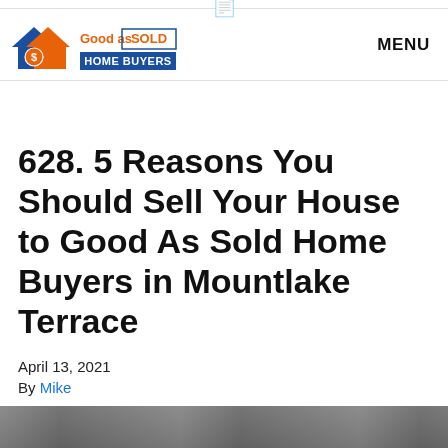Good as Sold Home Buyers — MENU
628. 5 Reasons You Should Sell Your House to Good As Sold Home Buyers in Mountlake Terrace
April 13, 2021
By Mike
[Figure (photo): Partial photo strip at bottom of page]